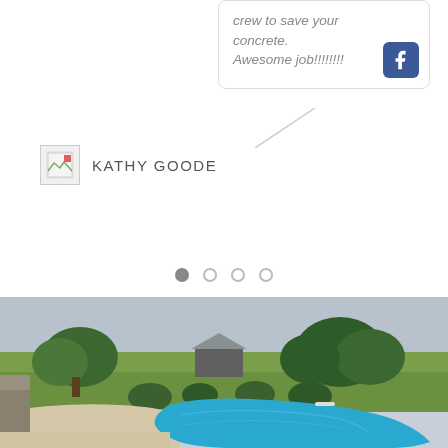crew to save your concrete. Awesome job!!!!!!!!
KATHY GOODE
[Figure (photo): Outdoor swimming pool with blue water, surrounded by a beige concrete patio, trees, a barn-style building, and open farmland in the background under a cloudy sky.]